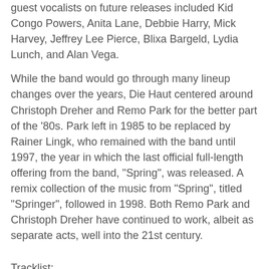guest vocalists on future releases included Kid Congo Powers, Anita Lane, Debbie Harry, Mick Harvey, Jeffrey Lee Pierce, Blixa Bargeld, Lydia Lunch, and Alan Vega.
While the band would go through many lineup changes over the years, Die Haut centered around Christoph Dreher and Remo Park for the better part of the '80s. Park left in 1985 to be replaced by Rainer Lingk, who remained with the band until 1997, the year in which the last official full-length offering from the band, "Spring", was released. A remix collection of the music from "Spring", titled "Springer", followed in 1998. Both Remo Park and Christoph Dreher have continued to work, albeit as separate acts, well into the 21st century.
Tracklist:
1 Urge 4:23
2 P.S.Y.C.H.O. 5:03
3 Coming Through Slaughter 3:04
4 Aischa 3:42